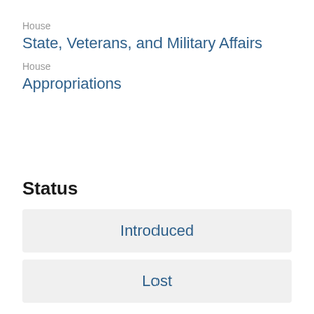House
State, Veterans, and Military Affairs
House
Appropriations
Status
Introduced
Lost